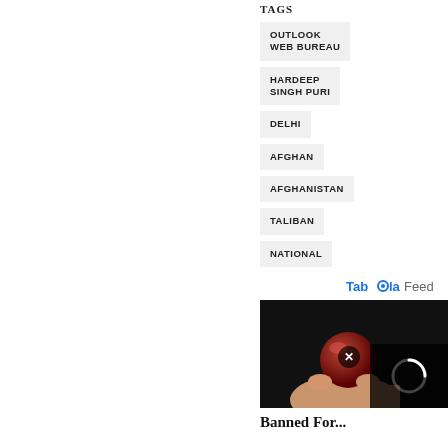TAGS
OUTLOOK WEB BUREAU
HARDEEP SINGH PURI
DELHI
AFGHAN
AFGHANISTAN
TALIBAN
NATIONAL
[Figure (logo): Taboola Feed logo]
[Figure (photo): Hand holding a red gummy candy against dark background, with a video overlay loading spinner and a close button]
Banned For...